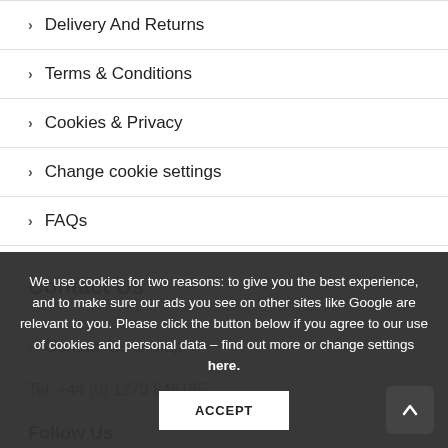Delivery And Returns
Terms & Conditions
Cookies & Privacy
Change cookie settings
FAQs
Contact Us
Contact Us & Map
Tel: +44 (0) 1270 848165
Follow Us
We use cookies for two reasons: to give you the best experience, and to make sure our ads you see on other sites like Google are relevant to you. Please click the button below if you agree to our use of cookies and personal data – find out more or change settings here.
ACCEPT